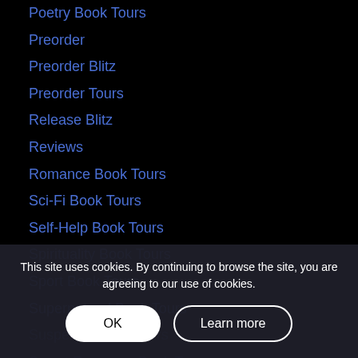Poetry Book Tours
Preorder
Preorder Blitz
Preorder Tours
Release Blitz
Reviews
Romance Book Tours
Sci-Fi Book Tours
Self-Help Book Tours
Spirituality Book Tours
Sport Book Tours
Supernatural Book Tours
Suspense Book Tours
Sweet Romance Book Tours
Teen Book Tours
Thriller Book Tours
Uncategorized
This site uses cookies. By continuing to browse the site, you are agreeing to our use of cookies.